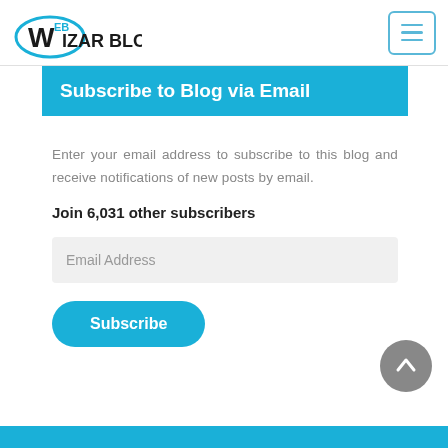Web Wizar Blog
Subscribe to Blog via Email
Enter your email address to subscribe to this blog and receive notifications of new posts by email.
Join 6,031 other subscribers
Email Address
Subscribe